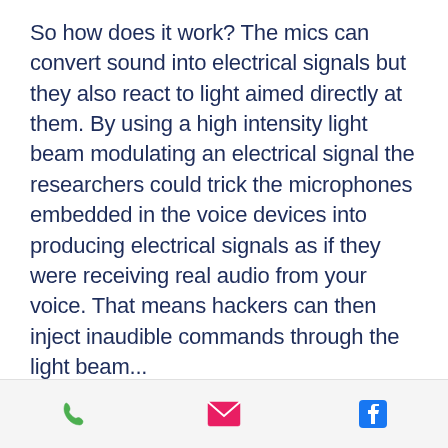So how does it work? The mics can convert sound into electrical signals but they also react to light aimed directly at them. By using a high intensity light beam modulating an electrical signal the researchers could trick the microphones embedded in the voice devices into producing electrical signals as if they were receiving real audio from your voice. That means hackers can then inject inaudible commands through the light beam...
Phone | Email | Facebook icons